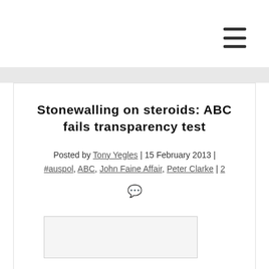Stonewalling on steroids: ABC fails transparency test
Posted by Tony Yegles | 15 February 2013 | #auspol, ABC, John Faine Affair, Peter Clarke | 2
[Figure (other): Partially visible image at bottom of card]